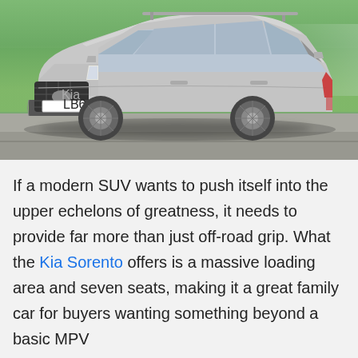[Figure (photo): A silver Kia Sorento SUV with UK license plate LB64 DSE driving on a road with green trees in the background]
If a modern SUV wants to push itself into the upper echelons of greatness, it needs to provide far more than just off-road grip. What the Kia Sorento offers is a massive loading area and seven seats, making it a great family car for buyers wanting something beyond a basic MPV
Advertisement